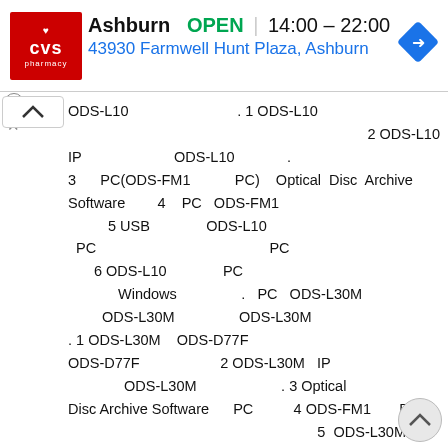[Figure (screenshot): CVS Pharmacy banner with store info: Ashburn, OPEN 14:00-22:00, address 43930 Farmwell Hunt Plaza, Ashburn, navigation icon]
ODS-L10 . 1 ODS-L10 2 ODS-L10 IP ODS-L10 . 3 PC(ODS-FM1 PC) Optical Disc Archive Software 4 PC ODS-FM1 5 USB ODS-L10 PC PC 6 ODS-L10 PC Windows . PC ODS-L30M ODS-L30M ODS-L30M . 1 ODS-L30M ODS-D77F ODS-D77F 2 ODS-L30M IP ODS-L30M . 3 Optical Disc Archive Software PC 4 ODS-FM1 PC 5 ODS-L30M ODS-D77F ODS-D77F 6 PC